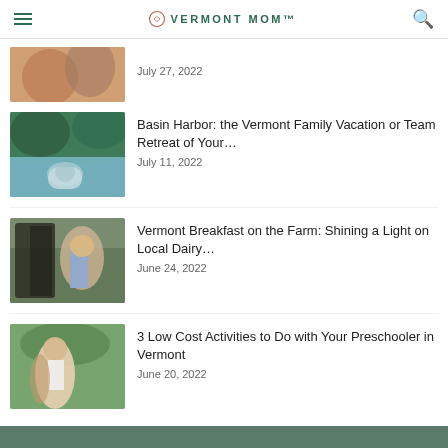Vermont Mom
[Figure (photo): Partial photo of child with ice cream, cropped at top]
July 27, 2022
[Figure (photo): Child floating on inflatable in a lake with green trees behind]
Basin Harbor: the Vermont Family Vacation or Team Retreat of Your...
July 11, 2022
[Figure (photo): Child in blue top feeding or petting a dark animal at a farm]
Vermont Breakfast on the Farm: Shining a Light on Local Dairy...
June 24, 2022
[Figure (photo): Young girl in white top outside in greenery]
3 Low Cost Activities to Do with Your Preschooler in Vermont
June 20, 2022